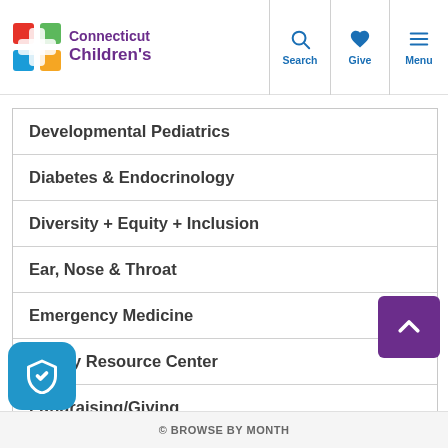Connecticut Children's — Search, Give, Menu
Developmental Pediatrics
Diabetes & Endocrinology
Diversity + Equity + Inclusion
Ear, Nose & Throat
Emergency Medicine
Family Resource Center
Fundraising/Giving
Gastroenterology
© BROWSE BY MONTH